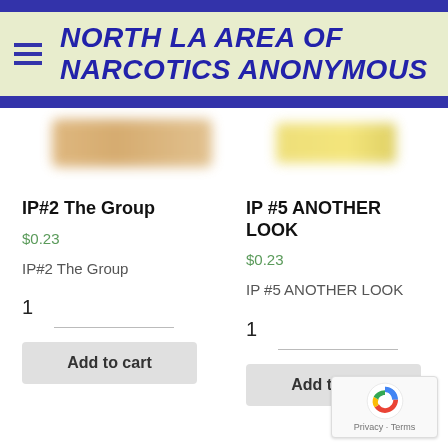NORTH LA AREA OF NARCOTICS ANONYMOUS
[Figure (photo): Blurred product images for two items]
IP#2 The Group
$0.23
IP#2 The Group
1
Add to cart
IP #5 ANOTHER LOOK
$0.23
IP #5 ANOTHER LOOK
1
Add to cart
[Figure (logo): reCAPTCHA badge with Privacy and Terms links]